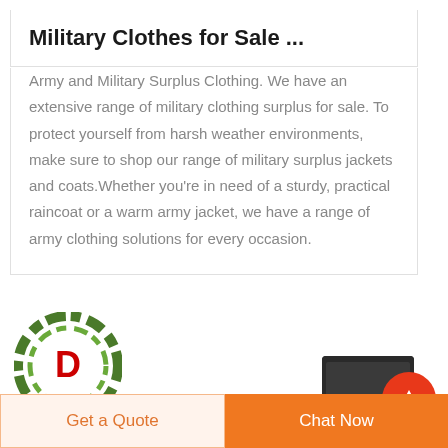Military Clothes for Sale ...
Army and Military Surplus Clothing. We have an extensive range of military clothing surplus for sale. To protect yourself from harsh weather environments, make sure to shop our range of military surplus jackets and coats.Whether you're in need of a sturdy, practical raincoat or a warm army jacket, we have a range of army clothing solutions for every occasion.
[Figure (logo): DEEKON logo: circular camouflage-pattern ring with red D in center, and DEEKON text in red below]
[Figure (photo): Small dark product thumbnail image]
Get a Quote
Chat Now